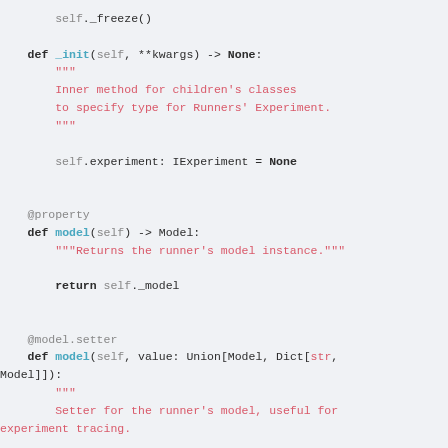self._freeze()

def _init(self, **kwargs) -> None:
    """
    Inner method for children's classes
    to specify type for Runners' Experiment.
    """
    self.experiment: IExperiment = None

@property
def model(self) -> Model:
    """Returns the runner's model instance."""
    return self._model

@model.setter
def model(self, value: Union[Model, Dict[str, Model]]):
    """
    Setter for the runner's model, useful for experiment tracing.

    Args:
        value (Union[Model, Dict[str, Model]]): new model.

    Raises:
        TypeError: if value is out of